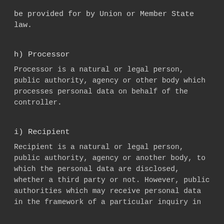be provided for by Union or Member State law.
h) Processor
Processor is a natural or legal person, public authority, agency or other body which processes personal data on behalf of the controller.
i) Recipient
Recipient is a natural or legal person, public authority, agency or another body, to which the personal data are disclosed, whether a third party or not. However, public authorities which may receive personal data in the framework of a particular inquiry in